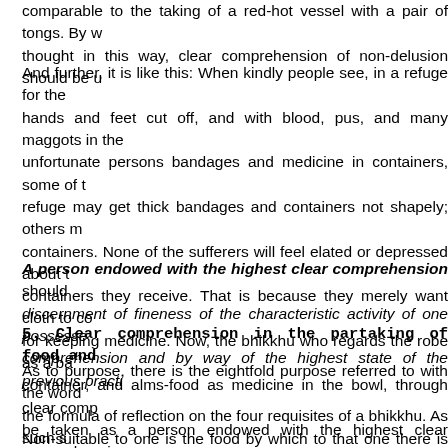hands and feet cut off, and with blood, pus, and many maggots in the... comparable to the taking of a red-hot vessel with a pair of tongs. By w... thought in this way, clear comprehension of non-delusion should be u...
And further, it is like this: When kindly people see, in a refuge for the... hands and feet cut off, and with blood, pus, and many maggots in the... unfortunate persons bandages and medicine in containers, some of t... refuge may get thick bandages and containers not shapely; others m... containers. None of the sufferers will feel elated or depressed about t... containers they receive. That is because they merely want cloth to co... for keeping medicine. Now, the bhikkhu who regards the robe as a ba... container, and alms-food as medicine in the bowl, through clear comp... be taken as a person endowed with the highest clear comprehension...
A person endowed with the highest clear comprehension should... discernment of fineness of the characteristic activity of one possesse... comprehension and by way of the highest state of the previous practi...
5. Clear comprehension in the partaking of food and
As to purpose, there is the eightfold purpose referred to with the word... the formula of reflection on the four requisites of a bhikkhu. As such s... purpose be known.
Non-suitable to one is the food by which to that one there is discomfo...